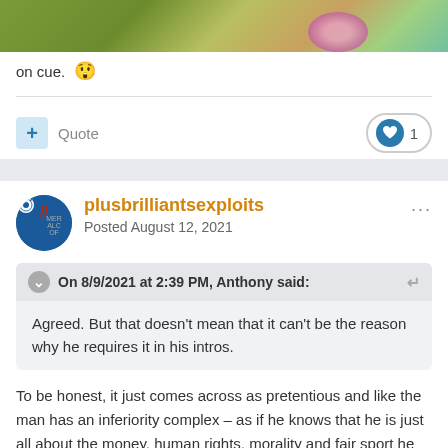[Figure (photo): Top portion of a photo showing colorful flowers (pink/purple) against a green background, cropped at the top of the page]
on cue. 😲
+ Quote  ❤ 1
plusbrilliantsexploits
Posted August 12, 2021
On 8/9/2021 at 2:39 PM, Anthony said:
Agreed. But that doesn't mean that it can't be the reason why he requires it in his intros.
To be honest, it just comes across as pretentious and like the man has an inferiority complex – as if he knows that he is just all about the money, human rights, morality and fair sport he